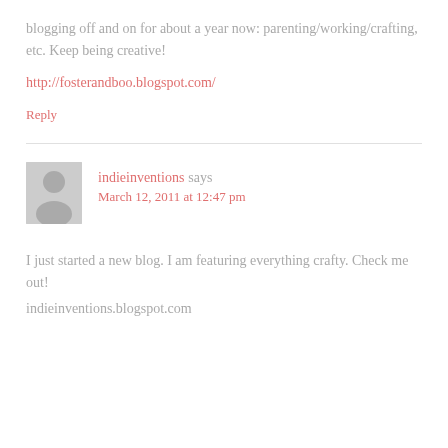blogging off and on for about a year now: parenting/working/crafting, etc. Keep being creative!
http://fosterandboo.blogspot.com/
Reply
[Figure (illustration): Gray avatar placeholder showing a silhouette of a person]
indieinventions says
March 12, 2011 at 12:47 pm
I just started a new blog. I am featuring everything crafty. Check me out!
indieinventions.blogspot.com